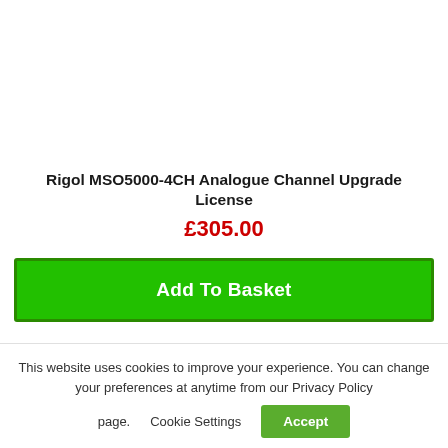Rigol MSO5000-4CH Analogue Channel Upgrade License
£305.00
Add To Basket
This website uses cookies to improve your experience. You can change your preferences at anytime from our Privacy Policy page.   Cookie Settings   Accept